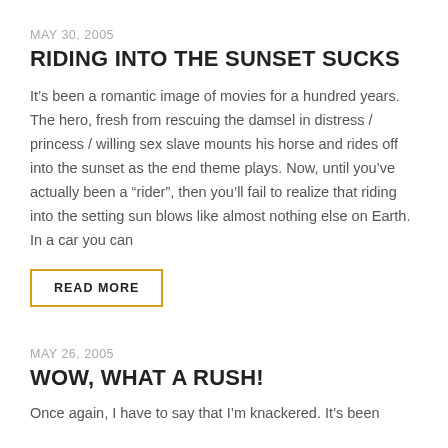MAY 30, 2005
RIDING INTO THE SUNSET SUCKS
It’s been a romantic image of movies for a hundred years. The hero, fresh from rescuing the damsel in distress / princess / willing sex slave mounts his horse and rides off into the sunset as the end theme plays. Now, until you’ve actually been a “rider”, then you’ll fail to realize that riding into the setting sun blows like almost nothing else on Earth. In a car you can
READ MORE
MAY 26, 2005
WOW, WHAT A RUSH!
Once again, I have to say that I’m knackered. It’s been